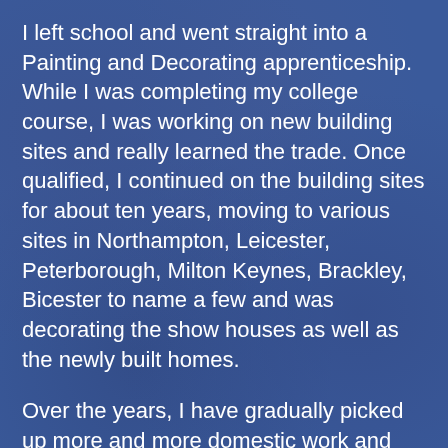I left school and went straight into a Painting and Decorating apprenticeship. While I was completing my college course, I was working on new building sites and really learned the trade. Once qualified, I continued on the building sites for about ten years, moving to various sites in Northampton, Leicester, Peterborough, Milton Keynes, Brackley, Bicester to name a few and was decorating the show houses as well as the newly built homes.
Over the years, I have gradually picked up more and more domestic work and have worked in various styles of houses. I have completed work in Grade 2 listed buildings, large Manor houses across the Anglia region, plush apartments and town houses in Mayfair, I was involved in the refurbishment/decoration of the Brampton Halt public house and restaurant. I have decorated boxes at Twickenham Rugby Ground for large corporate